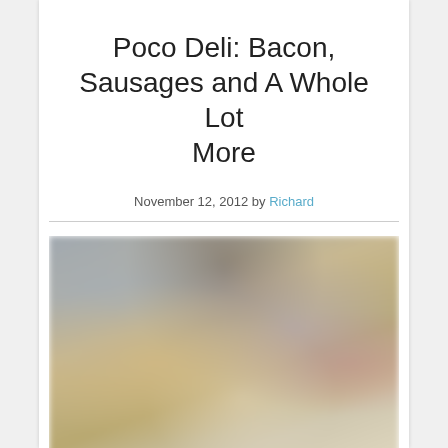Poco Deli: Bacon, Sausages and A Whole Lot More
November 12, 2012 by Richard
[Figure (photo): Blurred close-up food photo showing a plate of food and a tall glass drink at Poco Deli restaurant]